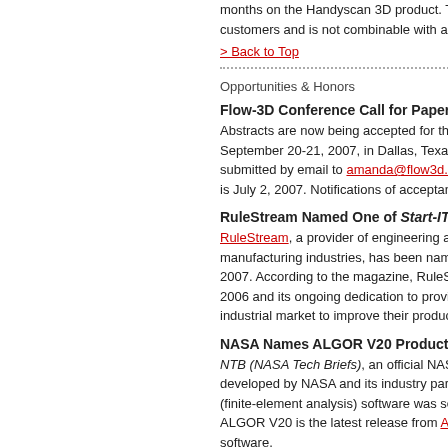months on the Handyscan 3D product. This customers and is not combinable with any ot
> Back to Top
Opportunities & Honors
Flow-3D Conference Call for Papers
Abstracts are now being accepted for the FL September 20-21, 2007, in Dallas, Texas. Ab submitted by email to amanda@flow3d.com o is July 2, 2007. Notifications of acceptance w
RuleStream Named One of Start-IT's Hotte
RuleStream, a provider of engineering and d manufacturing industries, has been named a 2007. According to the magazine, RuleStrea 2006 and its ongoing dedication to providing industrial market to improve their product co
NASA Names ALGOR V20 Product of the
NTB (NASA Tech Briefs), an official NASA pu developed by NASA and its industry partners (finite-element analysis) software was select ALGOR V20 is the latest release from ALGO software.
> Back to Top